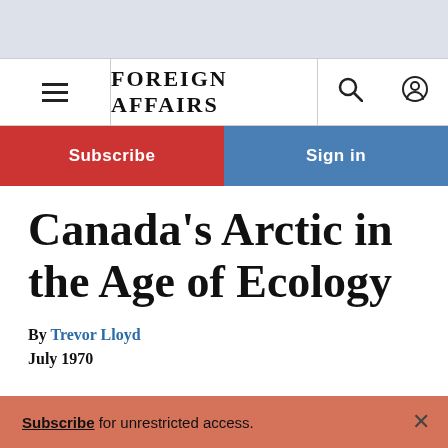FOREIGN AFFAIRS
Subscribe
Sign in
Canada's Arctic in the Age of Ecology
By Trevor Lloyd
July 1970
Subscribe for unrestricted access.